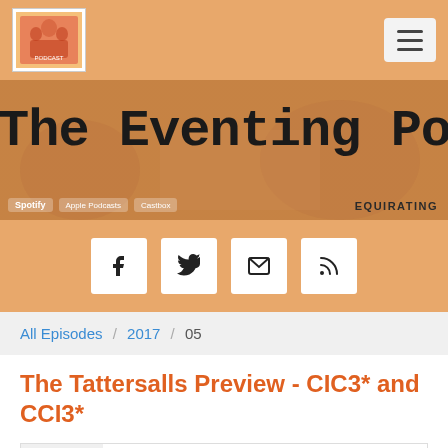[Figure (logo): The Eventing Podcast logo in navbar]
[Figure (illustration): Hamburger menu button top right]
[Figure (illustration): Hero banner with text 'The Eventing Podcast' in typewriter font over orange background with EQUIRATING label]
[Figure (illustration): Social media share buttons: Facebook, Twitter, Email, RSS on orange background]
All Episodes / 2017 / 05
The Tattersalls Preview - CIC3* and CCI3*
EQUIRATINGS EVENTING PODCAST
The Tattersalls Preview - CIC3* and CCI3*